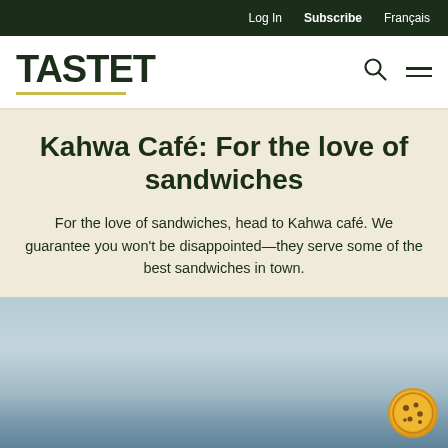Log In  Subscribe  Français
TASTET
Kahwa Café: For the love of sandwiches
For the love of sandwiches, head to Kahwa café. We guarantee you won't be disappointed—they serve some of the best sandwiches in town.
[Figure (photo): Outdoor scene with sky and water/horizon, muted blue-grey tones]